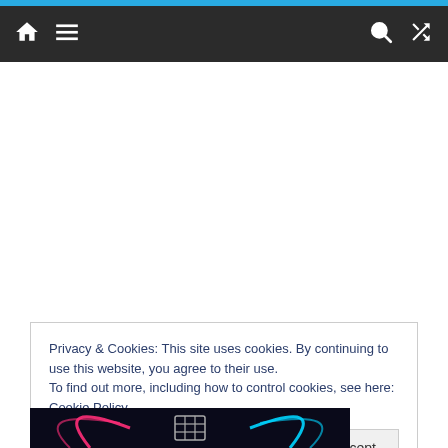Navigation bar with home, menu, search, and shuffle icons
[Figure (screenshot): White content area (advertisement space)]
Privacy & Cookies: This site uses cookies. By continuing to use this website, you agree to their use.
To find out more, including how to control cookies, see here: Cookie Policy
[Figure (screenshot): Bottom image strip with neon circular design on dark background]